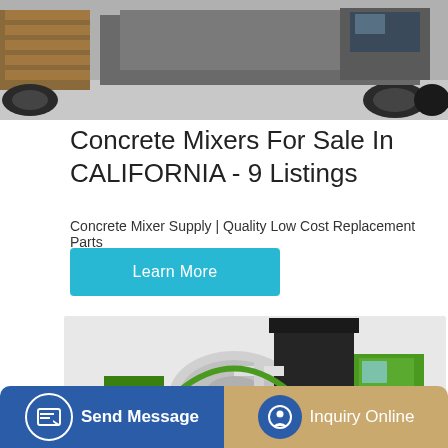[Figure (photo): Top portion of a forklift or industrial vehicle in a warehouse/yard setting, gray concrete floor visible]
Concrete Mixers For Sale In CALIFORNIA - 9 Listings
Concrete Mixer Supply | Quality Low Cost Replacement Parts
Learn More
[Figure (photo): Green and white self-loading concrete mixer truck with large cylindrical drum and black hopper on top]
Send Message
Inquiry Online